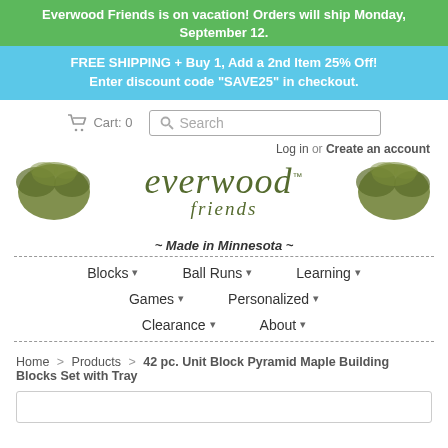Everwood Friends is on vacation! Orders will ship Monday, September 12.
FREE SHIPPING + Buy 1, Add a 2nd Item 25% Off!
Enter discount code "SAVE25" in checkout.
Cart: 0   Search
Log in or Create an account
[Figure (logo): Everwood Friends logo with decorative leaf/tree illustrations on both sides and text 'everwood friends ~ Made in Minnesota ~']
~ Made in Minnesota ~
Blocks   Ball Runs   Learning   Games   Personalized   Clearance   About
Home > Products > 42 pc. Unit Block Pyramid Maple Building Blocks Set with Tray